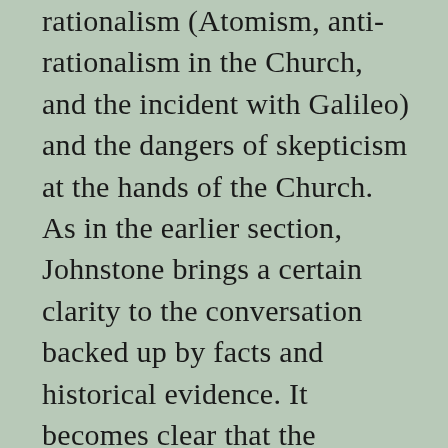rationalism (Atomism, anti-rationalism in the Church, and the incident with Galileo) and the dangers of skepticism at the hands of the Church. As in the earlier section, Johnstone brings a certain clarity to the conversation backed up by facts and historical evidence. It becomes clear that the Church was not, by and large, anti-intellectual with a bent on ferreting out and killing heretics. The data used by the New Atheists in these claims range from incorrect to a form of cherry picking whereby the context is removed, changing the meaning of